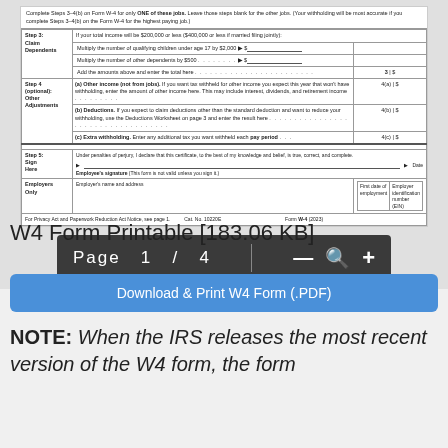[Figure (screenshot): W4 form PDF preview showing Steps 3-5 including Claim Dependents, Other Adjustments, and Sign Here sections, with page navigation bar showing Page 1 / 4]
W4 Form Printable [183.06 KB]
Download & Print W4 Form (.PDF)
NOTE: When the IRS releases the most recent version of the W4 form, the form